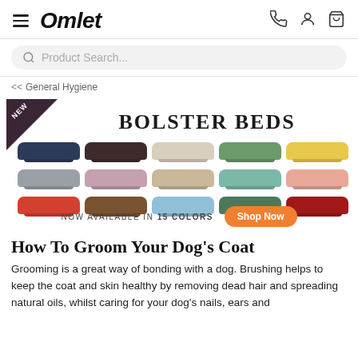Omlet
Product Search...
<< General Hygiene
[Figure (screenshot): Omlet Bolster Beds advertisement banner showing NEW badge, BOLSTER BEDS title, 15 dog beds in different colors arranged in a 5x3 grid, text 'NOW AVAILABLE IN 15 COLORS' and a Shop Now button]
How To Groom Your Dog’s Coat
Grooming is a great way of bonding with a dog. Brushing helps to keep the coat and skin healthy by removing dead hair and spreading natural oils, whilst caring for your dog’s nails, ears and